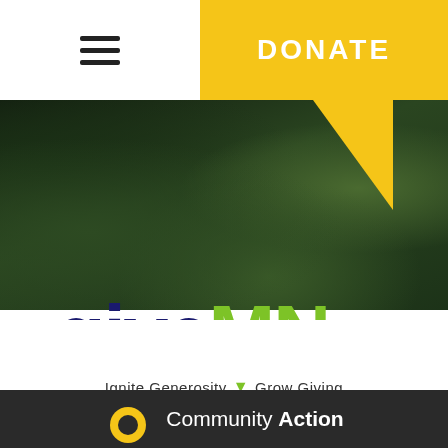DONATE
[Figure (photo): Dark green foliage background hero image with a yellow triangle graphic element in the upper right area]
[Figure (logo): giveMN.org logo with tagline 'Ignite Generosity Grow Giving'. 'give' in dark navy, 'MN' in green, '.org' in navy superscript.]
Community Action